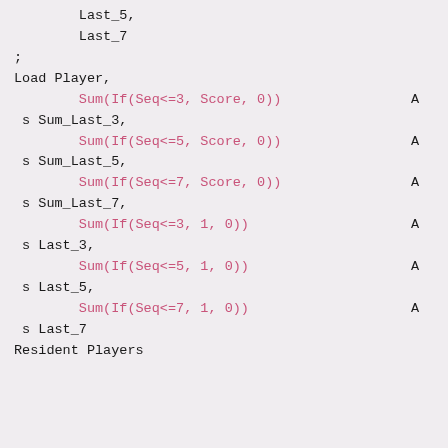Last_5,
    Last_7
;
Load Player,
        Sum(If(Seq<=3, Score, 0))                A
 s Sum_Last_3,
        Sum(If(Seq<=5, Score, 0))                A
 s Sum_Last_5,
        Sum(If(Seq<=7, Score, 0))                A
 s Sum_Last_7,
        Sum(If(Seq<=3, 1, 0))                     A
 s Last_3,
        Sum(If(Seq<=5, 1, 0))                     A
 s Last_5,
        Sum(If(Seq<=7, 1, 0))                     A
 s Last_7
Resident Players